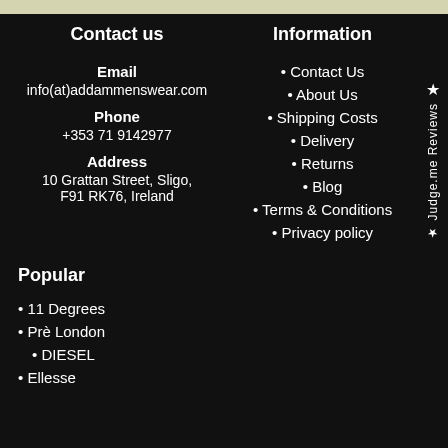Contact us
Email
info(at)addammenswear.com
Phone
+353 71 9142977
Address
10 Grattan Street, Sligo, F91 RK76, Ireland
Information
• Contact Us
• About Us
• Shipping Costs
• Delivery
• Returns
• Blog
• Terms & Conditions
• Privacy policy
Popular
• 11 Degrees
• Prè London
• DIESEL
• Ellesse